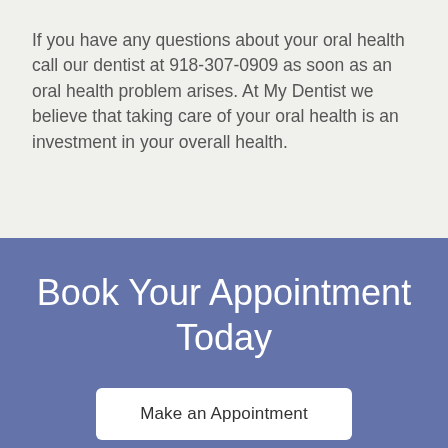If you have any questions about your oral health call our dentist at 918-307-0909 as soon as an oral health problem arises. At My Dentist we believe that taking care of your oral health is an investment in your overall health.
Book Your Appointment Today
Make an Appointment